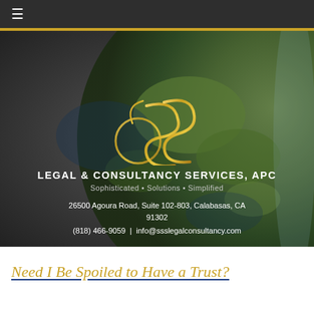≡
[Figure (logo): SSS Legal & Consultancy Services, APC hero banner with earth globe background, gold SSS logo mark, company name, tagline 'Sophisticated • Solutions • Simplified', address '26500 Agoura Road, Suite 102-803, Calabasas, CA 91302', and contact '(818) 466-9059 | info@ssslegalconsultancy.com']
Need I Be Spoiled to Have a Trust?